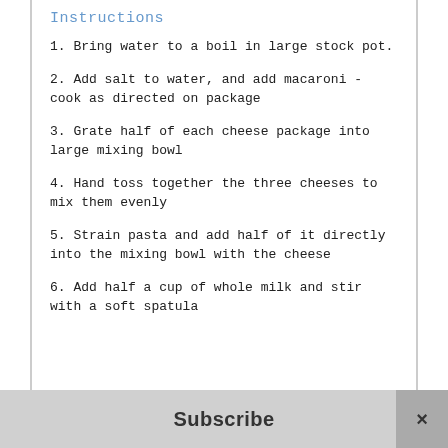Instructions
1. Bring water to a boil in large stock pot.
2. Add salt to water, and add macaroni - cook as directed on package
3. Grate half of each cheese package into large mixing bowl
4. Hand toss together the three cheeses to mix them evenly
5. Strain pasta and add half of it directly into the mixing bowl with the cheese
6. Add half a cup of whole milk and stir with a soft spatula
Subscribe  ×